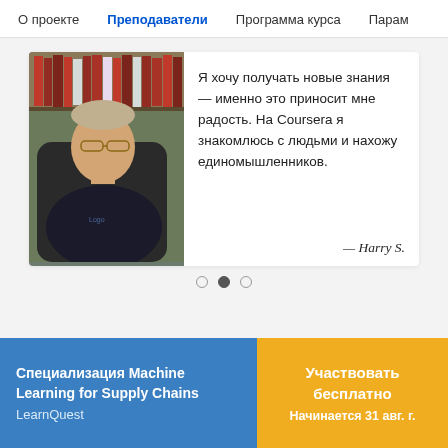О проекте  Преподаватели  Программа курса  Парам
[Figure (photo): Testimonial card with photo of a man wearing glasses seated in front of bookshelves, with a Russian-language quote and attribution to Harry S.]
Я хочу получать новые знания — именно это приносит мне радость. На Coursera я знакомлюсь с людьми и нахожу единомышленников.
— Harry S.
Специализация Machine Learning for Supply Chains
LearnQuest
Участвовать бесплатно
Начинается 31 авг. г.